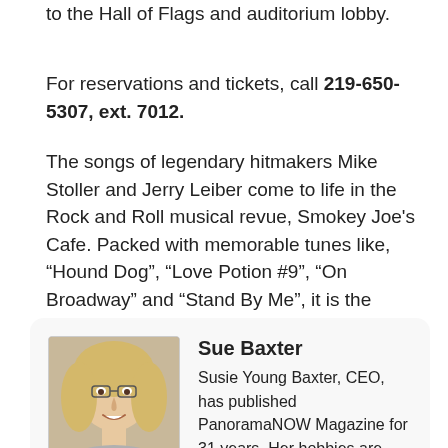to the Hall of Flags and auditorium lobby.
For reservations and tickets, call 219-650-5307, ext. 7012.
The songs of legendary hitmakers Mike Stoller and Jerry Leiber come to life in the Rock and Roll musical revue, Smokey Joe's Cafe. Packed with memorable tunes like, “Hound Dog”, “Love Potion #9”, “On Broadway” and “Stand By Me”, it is the longest-running revue in Broadway History.
[Figure (photo): Headshot photo of Sue Baxter, a woman with blonde hair and glasses, smiling.]
Sue Baxter
Susie Young Baxter, CEO, has published PanoramaNOW Magazine for 31 years. Her hobbies are Camping, Boating, Hiking, Nature, Gardening and Outdoor Activities. She is an Artist, Graphic Designer, an Avid Seamstress, Dabbles in Homemade Crafts and Landscaping. Since her Father was a Health Teacher,